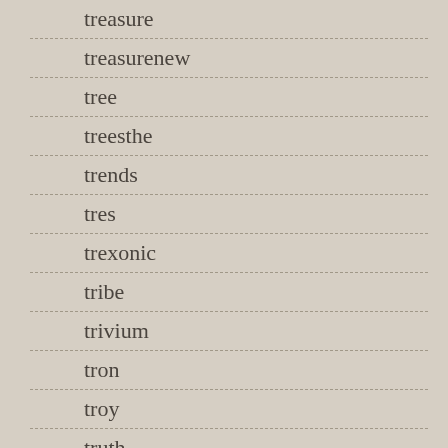treasure
treasurenew
tree
treesthe
trends
tres
trexonic
tribe
trivium
tron
troy
truth
tudor
tupac
turn
turned